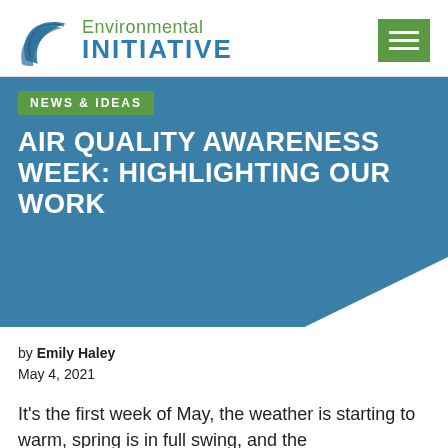Environmental Initiative
NEWS & IDEAS
AIR QUALITY AWARENESS WEEK: HIGHLIGHTING OUR WORK
by Emily Haley
May 4, 2021
It's the first week of May, the weather is starting to warm, spring is in full swing, and the